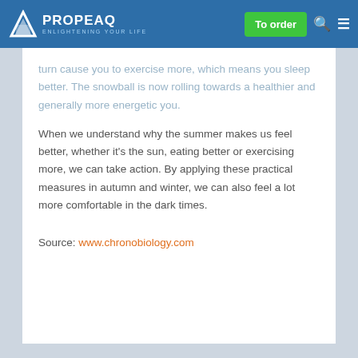PROPEAQ ENLIGHTENING YOUR LIFE | To order
turn cause you to exercise more, which means you sleep better. The snowball is now rolling towards a healthier and generally more energetic you.
When we understand why the summer makes us feel better, whether it's the sun, eating better or exercising more, we can take action. By applying these practical measures in autumn and winter, we can also feel a lot more comfortable in the dark times.
Source: www.chronobiology.com